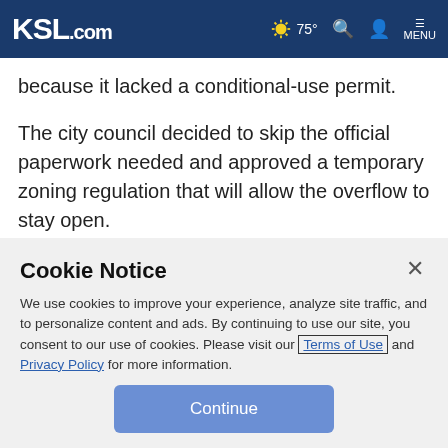KSL.com  ☀ 75°  🔍  👤  MENU
because it lacked a conditional-use permit.
The city council decided to skip the official paperwork needed and approved a temporary zoning regulation that will allow the overflow to stay open.
The council said Tuesday there was a compelling public interest to grant the temporary regulations without a public
Cookie Notice
We use cookies to improve your experience, analyze site traffic, and to personalize content and ads. By continuing to use our site, you consent to our use of cookies. Please visit our Terms of Use and Privacy Policy for more information.
Continue